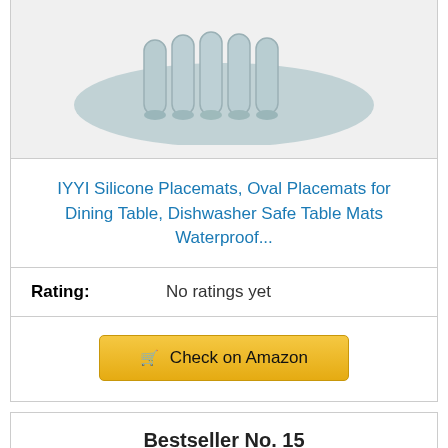[Figure (photo): Rolled silicone oval placemats in light blue/grey color, showing rolled tubes resting on an oval mat]
IYYI Silicone Placemats, Oval Placemats for Dining Table, Dishwasher Safe Table Mats Waterproof...
Rating: No ratings yet
🛒 Check on Amazon
Bestseller No. 15
[Figure (photo): Single grey silicone placemat in rounded rectangular shape]